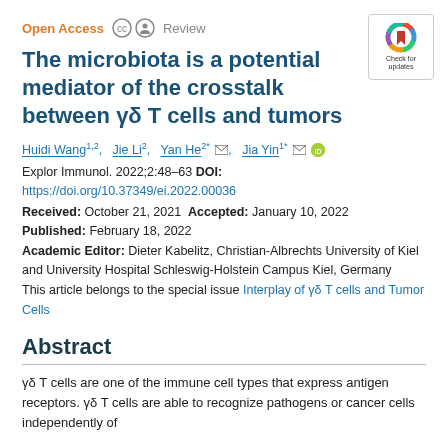Open Access  cc  Review
The microbiota is a potential mediator of the crosstalk between γδ T cells and tumors
Huidi Wang1,2, Jie Li2, Yan He2*, Jia Yin1*
Explor Immunol. 2022;2:48–63 DOI: https://doi.org/10.37349/ei.2022.00036
Received: October 21, 2021 Accepted: January 10, 2022
Published: February 18, 2022
Academic Editor: Dieter Kabelitz, Christian-Albrechts University of Kiel and University Hospital Schleswig-Holstein Campus Kiel, Germany
This article belongs to the special issue Interplay of γδ T cells and Tumor Cells
Abstract
γδ T cells are one of the immune cell types that express antigen receptors. γδ T cells are able to recognize pathogens or cancer cells independently of